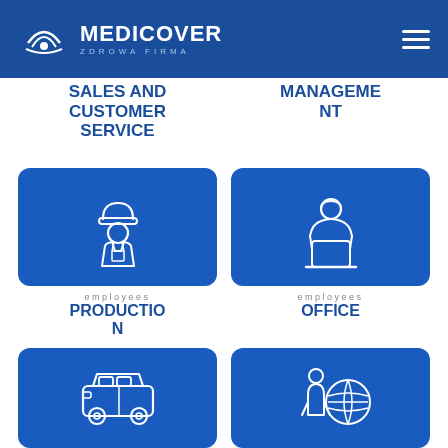[Figure (logo): Medicover Zdrowa Firma logo with stylized symbol and hamburger menu icon on blue header bar]
SALES AND CUSTOMER SERVICE
MANAGEMENT
[Figure (illustration): Blue rounded card with white icon of a worker wearing a hard hat]
[Figure (illustration): Blue rounded card with white icon of a person working at a laptop]
employees PRODUCTION
employees OFFICE
[Figure (illustration): Blue rounded card with white icon of a van/car]
[Figure (illustration): Blue rounded card with white icon of a person next to a globe]